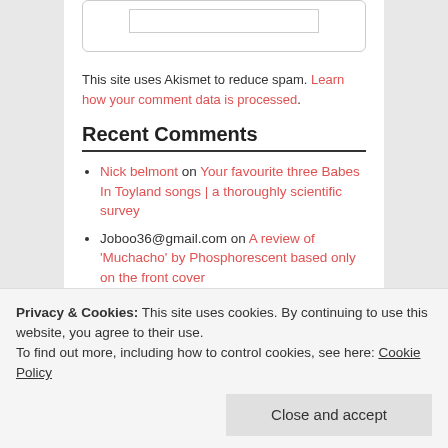This site uses Akismet to reduce spam. Learn how your comment data is processed.
Recent Comments
Nick belmont on Your favourite three Babes In Toyland songs | a thoroughly scientific survey
Joboo36@gmail.com on A review of 'Muchacho' by Phosphorescent based only on the front cover
Kalevi Kolttonen on Sometimes forgettable, always horrible… Foo Fighters live in Brisbane
David Womack on The Season of The Witch | 55 songs about witches
Hyperpop At The End Of The World – My 2021 In Music | Scott Creney on Sleigh Bells – Bitter
Privacy & Cookies: This site uses cookies. By continuing to use this website, you agree to their use. To find out more, including how to control cookies, see here: Cookie Policy
Close and accept